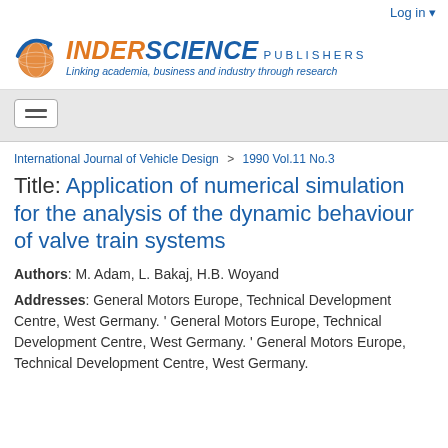Log in
[Figure (logo): Inderscience Publishers logo with globe icon and tagline: Linking academia, business and industry through research]
International Journal of Vehicle Design > 1990 Vol.11 No.3
Title: Application of numerical simulation for the analysis of the dynamic behaviour of valve train systems
Authors: M. Adam, L. Bakaj, H.B. Woyand
Addresses: General Motors Europe, Technical Development Centre, West Germany. ' General Motors Europe, Technical Development Centre, West Germany. ' General Motors Europe, Technical Development Centre, West Germany.